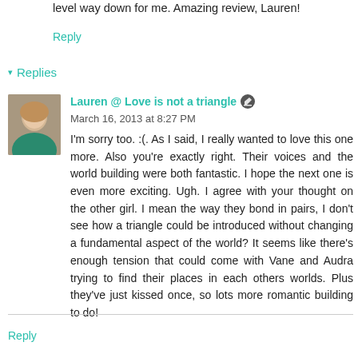level way down for me. Amazing review, Lauren!
Reply
▾ Replies
Lauren @ Love is not a triangle  March 16, 2013 at 8:27 PM
I'm sorry too. :(. As I said, I really wanted to love this one more. Also you're exactly right. Their voices and the world building were both fantastic. I hope the next one is even more exciting. Ugh. I agree with your thought on the other girl. I mean the way they bond in pairs, I don't see how a triangle could be introduced without changing a fundamental aspect of the world? It seems like there's enough tension that could come with Vane and Audra trying to find their places in each others worlds. Plus they've just kissed once, so lots more romantic building to do!
Reply